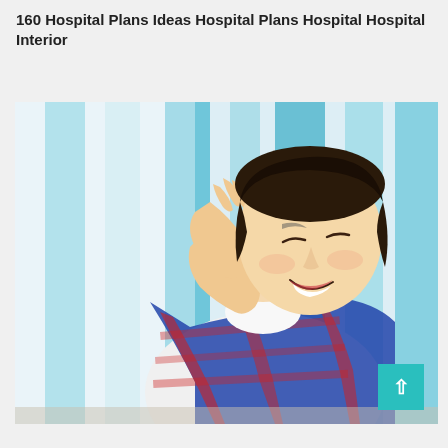160 Hospital Plans Ideas Hospital Plans Hospital Hospital Interior
[Figure (photo): A young East Asian person laughing with hand raised near face, wearing a blue and red plaid jacket over a white shirt, with a teal wristband. Background has blue and white vertical stripes.]